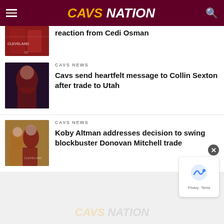CAVS NATION
reaction from Cedi Osman
CAVS NEWS
Cavs send heartfelt message to Collin Sexton after trade to Utah
CAVS NEWS
Koby Altman addresses decision to swing blockbuster Donovan Mitchell trade
CAVS NATION